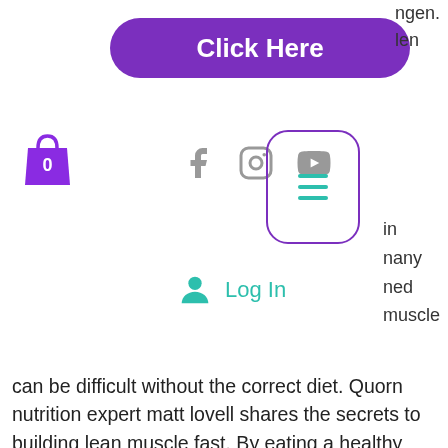[Figure (other): Purple rounded rectangle button with white bold text 'Click Here']
ngen.
len
[Figure (other): Purple shopping bag icon with number 0]
[Figure (other): Social media icons: Facebook, Instagram, YouTube in gray]
[Figure (other): Purple rounded rectangle border with teal hamburger menu lines inside]
in
nany
ned
muscle
[Figure (other): Teal user account circle icon with Log In text in teal]
can be difficult without the correct diet. Quorn nutrition expert matt lovell shares the secrets to building lean muscle fast. By eating a healthy diet, you can train hard in the gym and recover properly to build muscles. Likewise, you can eat 100% clean and healthy,. The body cannot turn fat into muscle, however, it can enhance fat burning while maintaining lean muscle mass by choosing the right diet and exercises with. Building lean muscle can be beneficial in several aspects of your life, but what is the best way to go about it? An important way to